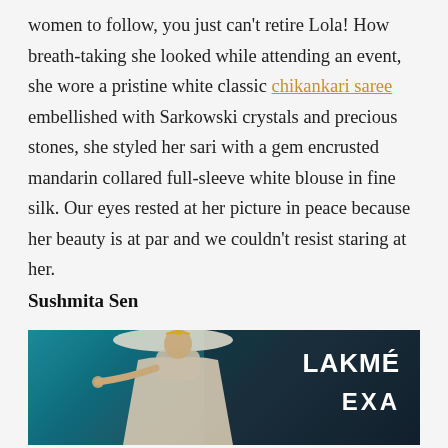women to follow, you just can't retire Lola! How breath-taking she looked while attending an event, she wore a pristine white classic chikankari saree embellished with Sarkowski crystals and precious stones, she styled her sari with a gem encrusted mandarin collared full-sleeve white blouse in fine silk. Our eyes rested at her picture in peace because her beauty is at par and we couldn't resist staring at her.
Sushmita Sen
[Figure (photo): Sushmita Sen in a bridal white lehenga on the Lakmé Exa runway, pointing toward the camera with jewelry and veil, against a teal and dark background with LAKMÉ EXA text visible.]